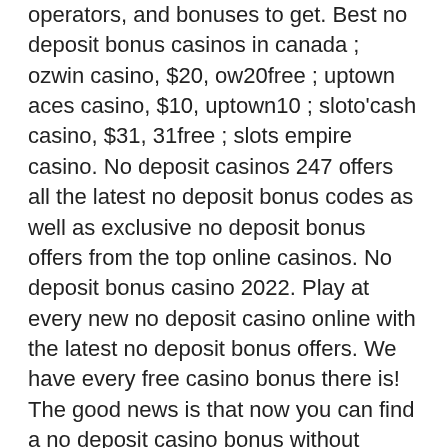operators, and bonuses to get. Best no deposit bonus casinos in canada ; ozwin casino, $20, ow20free ; uptown aces casino, $10, uptown10 ; sloto'cash casino, $31, 31free ; slots empire casino. No deposit casinos 247 offers all the latest no deposit bonus codes as well as exclusive no deposit bonus offers from the top online casinos. No deposit bonus casino 2022. Play at every new no deposit casino online with the latest no deposit bonus offers. We have every free casino bonus there is! The good news is that now you can find a no deposit casino bonus without having to spend a single dime. While earning free prizes without. Best no deposit bonus casinos in 2022 ; caesars casino logo. $25 no deposit bonus ; betmgm casino logo. $50 no deposit &amp; $1000 matched bonus ; draftkings casino. Golden nugget online casino. Golden nugget has the biggest